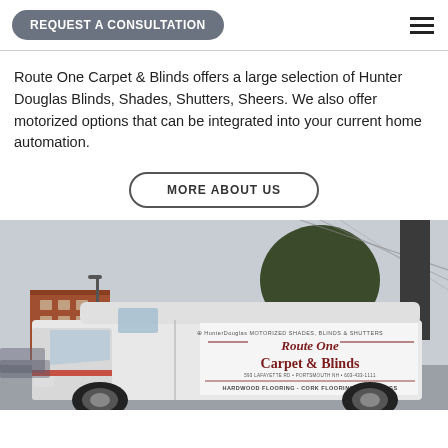REQUEST A CONSULTATION
Route One Carpet & Blinds offers a large selection of Hunter Douglas Blinds, Shades, Shutters, Sheers. We also offer motorized options that can be integrated into your current home automation.
MORE ABOUT US
[Figure (photo): A white commercial van with Route One Carpet & Blinds branding — HunterDouglas Motorized Shades, Blinds & Shutters, Route One Carpet & Blinds, 593 Lafayette Rd, Portsmouth NH, 603-433-1111, Hardwood Flooring · Cork Flooring · Area Rugs — parked in a lot with a tree and buildings in background.]